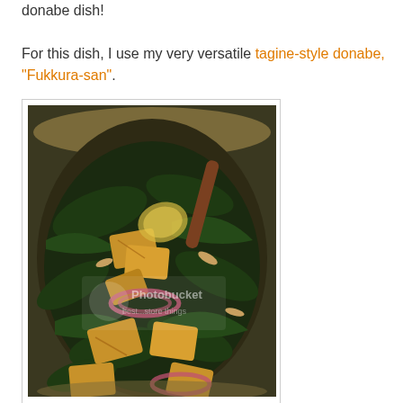donabe dish!
For this dish, I use my very versatile tagine-style donabe, "Fukkura-san".
[Figure (photo): A photo of a salad with dark leafy greens, croutons, red onion slices, and other toppings in a round bowl, with a wooden spoon. A Photobucket watermark is visible.]